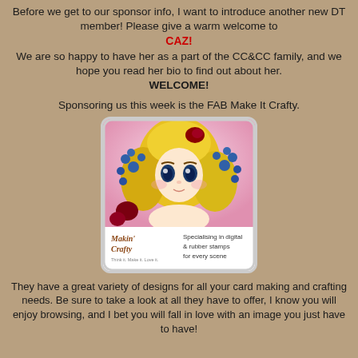Before we get to our sponsor info, I want to introduce another new DT member!  Please give a warm welcome to CAZ!  We are so happy to have her as a part of the CC&CC family, and we hope you read her bio to find out about her. WELCOME!
Sponsoring us this week is the FAB Make It Crafty.
[Figure (illustration): Anime-style illustration of a blonde girl with blue flowers in her hair and a pink background. Below the illustration is a white banner with the 'Makin' Crafty' logo and the tagline 'Specialising in digital & rubber stamps for every scene'.]
They have a great variety of designs for all your card making and crafting needs.  Be sure to take a look at all they have to offer, I know you will enjoy browsing, and I bet you will fall in love with an image you just have to have!